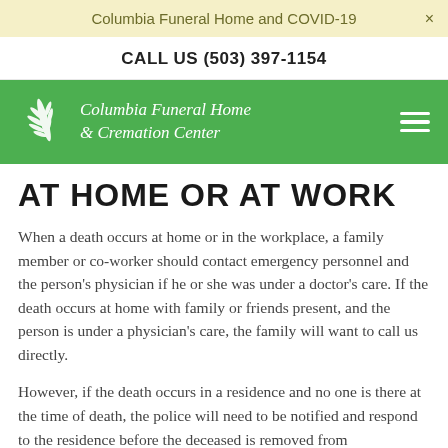Columbia Funeral Home and COVID-19  ×
CALL US (503) 397-1154
[Figure (logo): Columbia Funeral Home & Cremation Center logo with fern leaf icon on green background, and hamburger menu icon on right]
AT HOME OR AT WORK
When a death occurs at home or in the workplace, a family member or co-worker should contact emergency personnel and the person's physician if he or she was under a doctor's care. If the death occurs at home with family or friends present, and the person is under a physician's care, the family will want to call us directly.
However, if the death occurs in a residence and no one is there at the time of death, the police will need to be notified and respond to the residence before the deceased is removed from